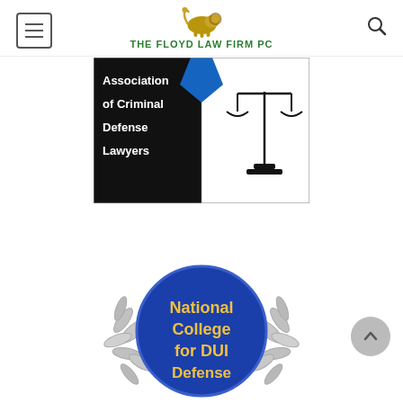THE FLOYD LAW FIRM PC
[Figure (logo): Association of Criminal Defense Lawyers badge with scales of justice logo on black and white background]
[Figure (logo): National College for DUI Defense badge with silver laurel wreath and blue circular seal with gold text]